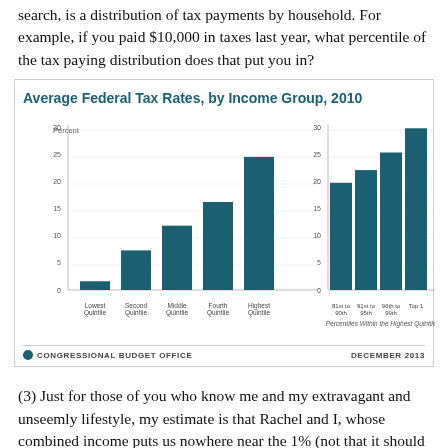search, is a distribution of tax payments by household. For example, if you paid $10,000 in taxes last year, what percentile of the tax paying distribution does that put you in?
[Figure (grouped-bar-chart): Average Federal Tax Rates, by Income Group, 2010]
(3) Just for those of you who know me and my extravagant and unseemly lifestyle, my estimate is that Rachel and I, whose combined income puts us nowhere near the 1% (not that it should matter), paid a total of about SIXTY THREE THOUSAND